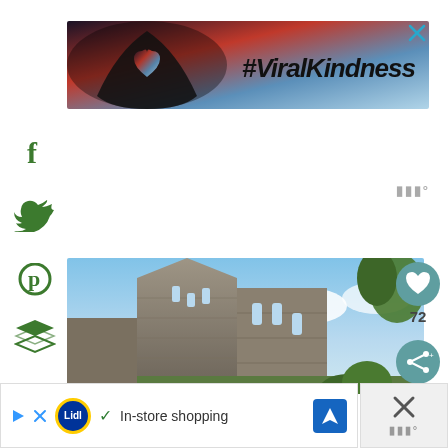[Figure (screenshot): Advertisement banner with heart silhouette hands and #ViralKindness hashtag text on sunset/sky background]
[Figure (photo): Photograph of a ruined medieval stone church or abbey building against a blue sky with clouds and trees]
In-store shopping
72